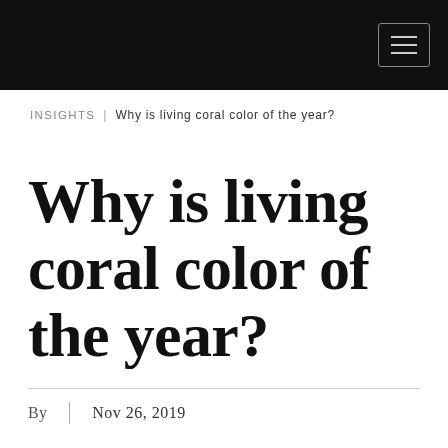INSIGHTS | Why is living coral color of the year?
Why is living coral color of the year?
By | Nov 26, 2019